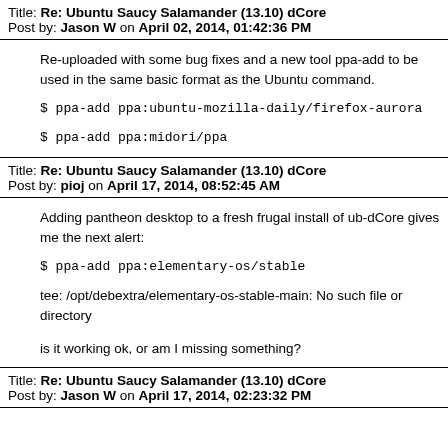Title: Re: Ubuntu Saucy Salamander (13.10) dCore
Post by: Jason W on April 02, 2014, 01:42:36 PM
Re-uploaded with some bug fixes and a new tool ppa-add to be used in the same basic format as the Ubuntu command.
$ ppa-add ppa:ubuntu-mozilla-daily/firefox-aurora
$ ppa-add ppa:midori/ppa
Title: Re: Ubuntu Saucy Salamander (13.10) dCore
Post by: pioj on April 17, 2014, 08:52:45 AM
Adding pantheon desktop to a fresh frugal install of ub-dCore gives me the next alert:
$ ppa-add ppa:elementary-os/stable
tee: /opt/debextra/elementary-os-stable-main: No such file or directory
is it working ok, or am I missing something?
Title: Re: Ubuntu Saucy Salamander (13.10) dCore
Post by: Jason W on April 17, 2014, 02:23:32 PM